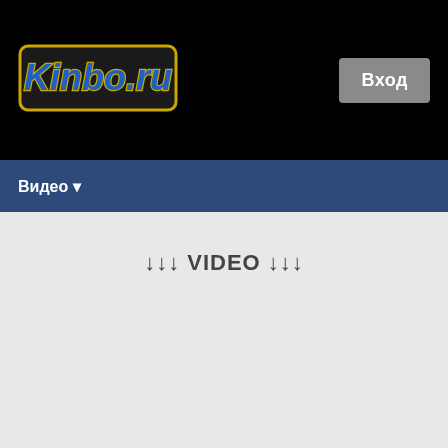[Figure (logo): Kinbo.ru website logo with stylized yellow-outlined blue text on black background]
Вход
Видео ▾
↓↓↓ VIDEO ↓↓↓